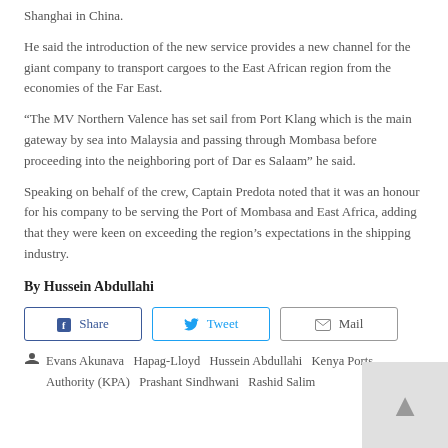Shanghai in China.
He said the introduction of the new service provides a new channel for the giant company to transport cargoes to the East African region from the economies of the Far East.
“The MV Northern Valence has set sail from Port Klang which is the main gateway by sea into Malaysia and passing through Mombasa before proceeding into the neighboring port of Dar es Salaam” he said.
Speaking on behalf of the crew, Captain Predota noted that it was an honour for his company to be serving the Port of Mombasa and East Africa, adding that they were keen on exceeding the region’s expectations in the shipping industry.
By Hussein Abdullahi
[Figure (other): Social share buttons: Share (Facebook), Tweet (Twitter), Mail]
Evans Akunava  Hapag-Lloyd  Hussein Abdullahi  Kenya Ports Authority (KPA)  Prashant Sindhwani  Rashid Salim